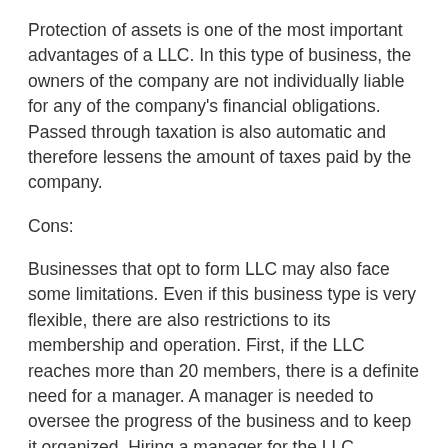Protection of assets is one of the most important advantages of a LLC. In this type of business, the owners of the company are not individually liable for any of the company's financial obligations. Passed through taxation is also automatic and therefore lessens the amount of taxes paid by the company.
Cons:
Businesses that opt to form LLC may also face some limitations. Even if this business type is very flexible, there are also restrictions to its membership and operation. First, if the LLC reaches more than 20 members, there is a definite need for a manager. A manager is needed to oversee the progress of the business and to keep it organized. Hiring a manager for the LLC presents additional expenses to the business. Also, the LLC may be dissolved if one member quits. However, there are provisions in the state laws which can address this problem.
The LLC can also restrict the flow of the business profits and stocks. The LLC is not authorized to split the overall profit